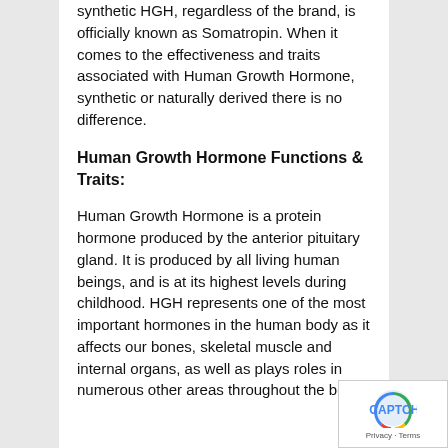synthetic HGH, regardless of the brand, is officially known as Somatropin. When it comes to the effectiveness and traits associated with Human Growth Hormone, synthetic or naturally derived there is no difference.
Human Growth Hormone Functions & Traits:
Human Growth Hormone is a protein hormone produced by the anterior pituitary gland. It is produced by all living human beings, and is at its highest levels during childhood. HGH represents one of the most important hormones in the human body as it affects our bones, skeletal muscle and internal organs, as well as plays roles in numerous other areas throughout the body.